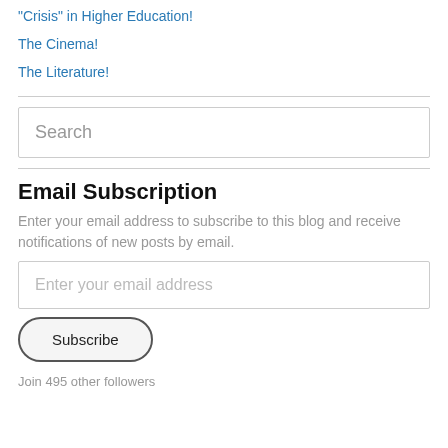"Crisis" in Higher Education!
The Cinema!
The Literature!
Search
Email Subscription
Enter your email address to subscribe to this blog and receive notifications of new posts by email.
Enter your email address
Subscribe
Join 495 other followers